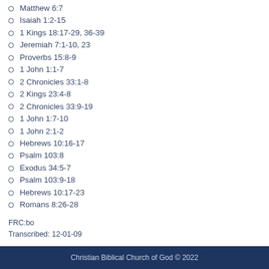Matthew 6:7
Isaiah 1:2-15
1 Kings 18:17-29, 36-39
Jeremiah 7:1-10, 23
Proverbs 15:8-9
1 John 1:1-7
2 Chronicles 33:1-8
2 Kings 23:4-8
2 Chronicles 33:9-19
1 John 1:7-10
1 John 2:1-2
Hebrews 10:16-17
Psalm 103:8
Exodus 34:5-7
Psalm 103:9-18
Hebrews 10:17-23
Romans 8:26-28
FRC:bo
Transcribed: 12-01-09
Christian Biblical Church of God © 2022